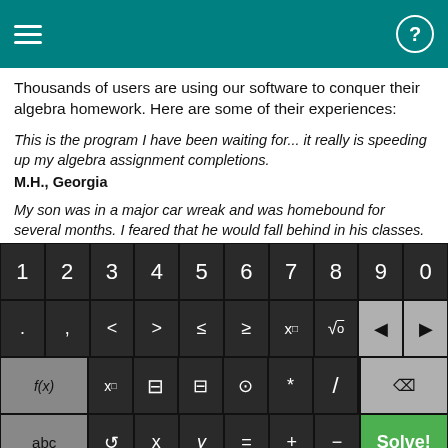Thousands of users are using our software to conquer their algebra homework. Here are some of their experiences:
This is the program I have been waiting for... it really is speeding up my algebra assignment completions.
M.H., Georgia
My son was in a major car wreak and was homebound for several months. I feared that he would fall behind in his classes. His math teacher recommended Algebrator, which literally took him through each problem step by step. Once my son was able to return to school, he had a better understanding of math than before he left. I would recommend this software to...
[Figure (screenshot): App keyboard with numeric keys 1-9,0; symbol keys including < > ≤ ≥ x□ √ back-arrows; function keys f(x), x subscript, fraction, absolute value, parentheses, *, /; bottom row abc, undo, x, y, =, +, -, Solve! button]